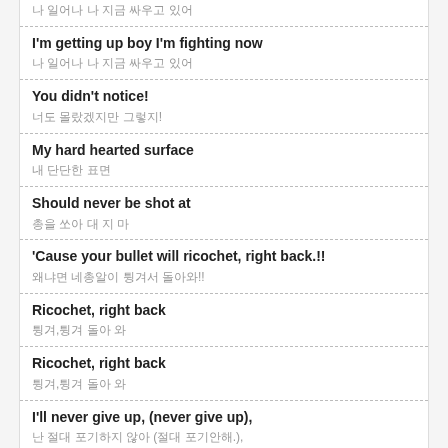나 일어나 나 지금 싸우고 있어
I'm getting up boy I'm fighting now / 나 일어나 나 지금 싸우고 있어
You didn't notice! / 너도 몰랐겠지만 그렇지!
My hard hearted surface / 내 단단한 표면
Should never be shot at / 총을 쏘아 대 지 마
'Cause your bullet will ricochet, right back.!! / 왜냐면 네총알이 튕겨서 돌아와!!
Ricochet, right back / 튕겨,튕겨 돌아 와
Ricochet, right back / 튕겨,튕겨 돌아 와
I'll never give up, (never give up), / 난 절대 포기하지 않아 (절대 포기안해.),